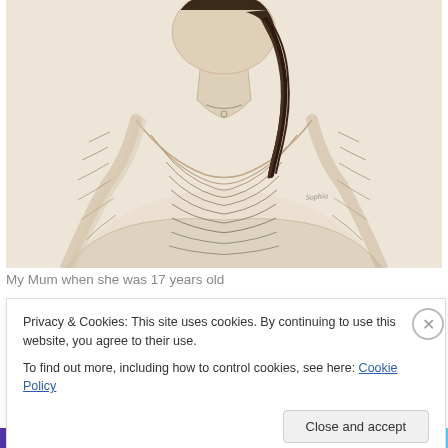[Figure (illustration): A pencil sketch drawing of a woman (the artist's mother at 17 years old), showing her from roughly the chest up, wearing a ruffled/layered blouse. She has dark hair. The drawing is done in light pencil on white paper with warm tones. Artist's signature is visible in the lower right area of the drawing.]
My Mum when she was 17 years old
Privacy & Cookies: This site uses cookies. By continuing to use this website, you agree to their use.
To find out more, including how to control cookies, see here: Cookie Policy
Close and accept